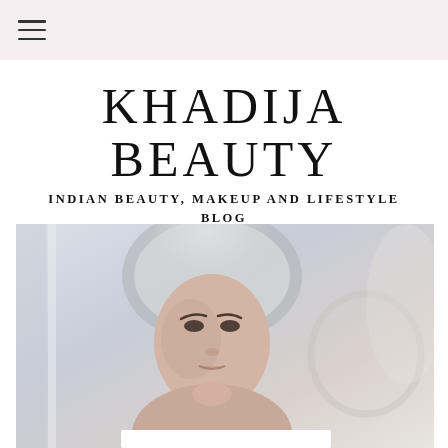≡ (navigation menu icon)
KHADIJA BEAUTY
INDIAN BEAUTY, MAKEUP AND LIFESTYLE BLOG
[Figure (photo): Woman with white towel wrapped around her head, touching her face, looking into a mirror in a blurry background]